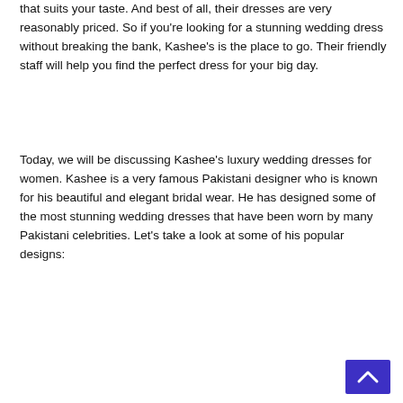that suits your taste. And best of all, their dresses are very reasonably priced. So if you're looking for a stunning wedding dress without breaking the bank, Kashee's is the place to go. Their friendly staff will help you find the perfect dress for your big day.
Today, we will be discussing Kashee's luxury wedding dresses for women. Kashee is a very famous Pakistani designer who is known for his beautiful and elegant bridal wear. He has designed some of the most stunning wedding dresses that have been worn by many Pakistani celebrities. Let's take a look at some of his popular designs:
[Figure (other): A blue/purple scroll-to-top button with an upward arrow chevron icon, positioned in the bottom-right corner.]